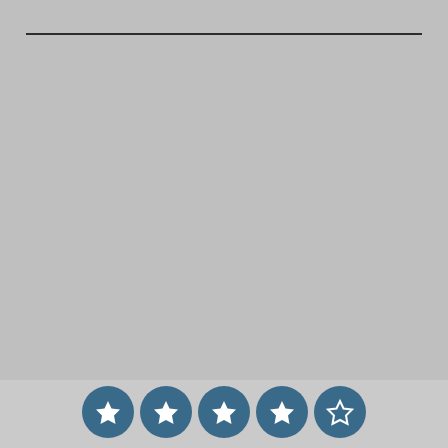[Figure (other): Horizontal divider line near top of page]
[Figure (infographic): Five star rating icons in blue circles at bottom of page, four filled stars and one empty star, representing a 4 out of 5 star rating]